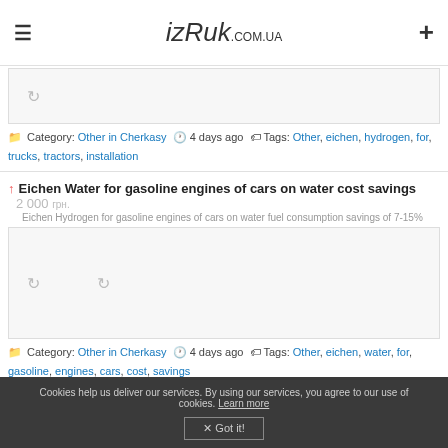izRuk.com.ua
[Figure (photo): Product image loading spinner for first listing]
Category: Other in Cherkasy  4 days ago  Tags: Other, eichen, hydrogen, for, trucks, tractors, installation
↑ Eichen Water for gasoline engines of cars on water cost savings  2 000 грн.
Eichen Hydrogen for gasoline engines of cars on water fuel consumption savings of 7-15%
[Figure (photo): Two product image loading spinners for second listing]
Category: Other in Cherkasy  4 days ago  Tags: Other, eichen, water, for, gasoline, engines, cars, cost, savings
↑ Eichen Hydrogen installation for diesel fuel saving 15  2 000 грн.
Eichen Hydrogen installation for diesel fuel savings of 15-30%
[Figure (photo): Product image loading area for third listing]
Cookies help us deliver our services. By using our services, you agree to our use of cookies. Learn more  ✕ Got it!